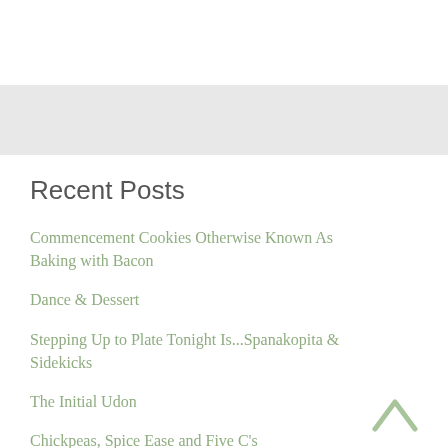Recent Posts
Commencement Cookies Otherwise Known As Baking with Bacon
Dance & Dessert
Stepping Up to Plate Tonight Is...Spanakopita & Sidekicks
The Initial Udon
Chickpeas, Spice Ease and Five C's